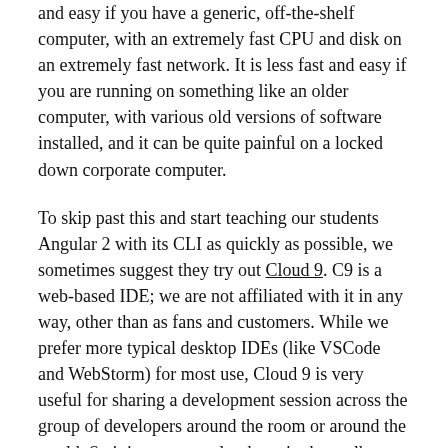and easy if you have a generic, off-the-shelf computer, with an extremely fast CPU and disk on an extremely fast network. It is less fast and easy if you are running on something like an older computer, with various old versions of software installed, and it can be quite painful on a locked down corporate computer.
To skip past this and start teaching our students Angular 2 with its CLI as quickly as possible, we sometimes suggest they try out Cloud 9. C9 is a web-based IDE; we are not affiliated with it in any way, other than as fans and customers. While we prefer more typical desktop IDEs (like VSCode and WebStorm) for most use, Cloud 9 is very useful for sharing a development session across the group of developers around the room or around the world. So it is a great tool to have in the toolbox.